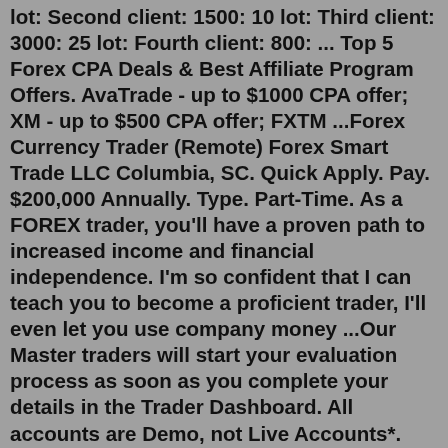lot: Second client: 1500: 10 lot: Third client: 3000: 25 lot: Fourth client: 800: ... Top 5 Forex CPA Deals & Best Affiliate Program Offers. AvaTrade - up to $1000 CPA offer; XM - up to $500 CPA offer; FXTM ...Forex Currency Trader (Remote) Forex Smart Trade LLC Columbia, SC. Quick Apply. Pay. $200,000 Annually. Type. Part-Time. As a FOREX trader, you'll have a proven path to increased income and financial independence. I'm so confident that I can teach you to become a proficient trader, I'll even let you use company money ...Our Master traders will start your evaluation process as soon as you complete your details in the Trader Dashboard. All accounts are Demo, not Live Accounts*. 50,000. $400. CHALLENGE/VERIFICATION. Unlimited Free Retakes. Challenge Or Verification. Challenge Takes 30 days. Verification takes 60 days.By trading, you can earn points to redeem for increasing rewards and benefits on the XM loyalty program. Singaporean traders only, up to 30/06/2022, have the chance to win